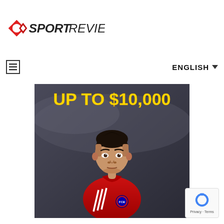[Figure (logo): SportReviews logo with red geometric icon and black text reading SPORT REVIEWS]
[Figure (other): Navigation bar with hamburger menu icon on left and ENGLISH dropdown label on right]
[Figure (photo): Promotional banner showing a soccer player in red Bayern Munich jersey with text UP TO $10,000 in yellow bold letters at the top]
[Figure (other): Google reCAPTCHA badge with recycling-like icon and Privacy Terms text]